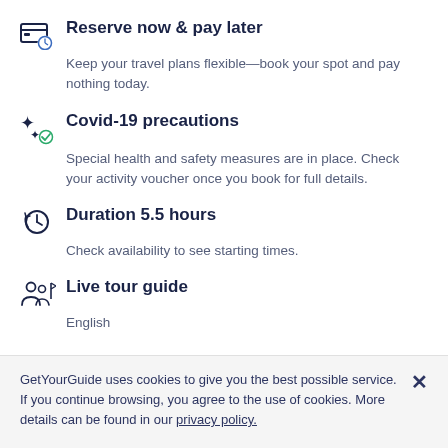Reserve now & pay later
Keep your travel plans flexible—book your spot and pay nothing today.
Covid-19 precautions
Special health and safety measures are in place. Check your activity voucher once you book for full details.
Duration 5.5 hours
Check availability to see starting times.
Live tour guide
English
GetYourGuide uses cookies to give you the best possible service. If you continue browsing, you agree to the use of cookies. More details can be found in our privacy policy.